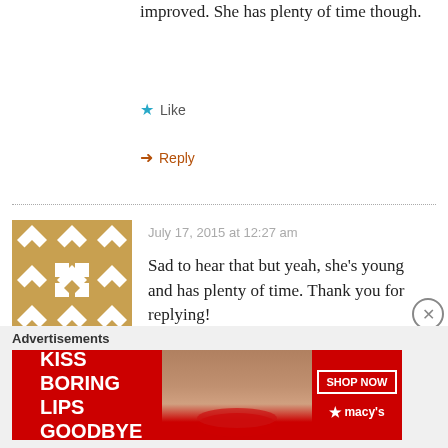improved. She has plenty of time though.
Like
Reply
July 17, 2015 at 12:27 am
[Figure (illustration): Geometric decorative avatar in golden/tan color with diamond and square patterns, for user Andrea]
Andrea
Sad to hear that but yeah, she's young and has plenty of time. Thank you for replying!
Like
Advertisements
[Figure (photo): Macy's advertisement banner: KISS BORING LIPS GOODBYE with photo of woman with red lips, SHOP NOW button and Macy's star logo]